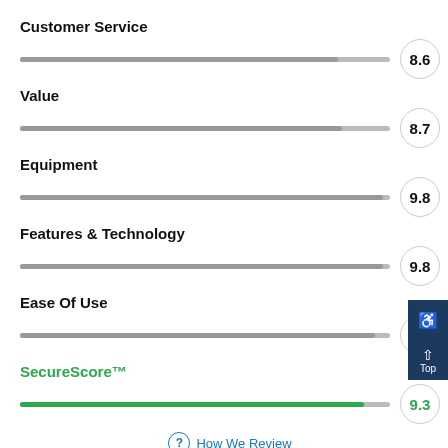[Figure (bar-chart): Rating scores]
How We Review